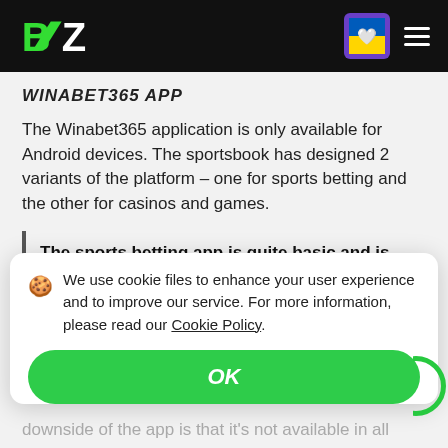BZ logo, flag icon, hamburger menu
WINABET365 APP
The Winabet365 application is only available for Android devices. The sportsbook has designed 2 variants of the platform – one for sports betting and the other for casinos and games.
The sports betting app is quite basic and is not as user-friendly as the desktop or mobile site. Th...
🍪 We use cookie files to enhance your user experience and to improve our service. For more information, please read our Cookie Policy.
OK
downside of the app is that it's not available in all